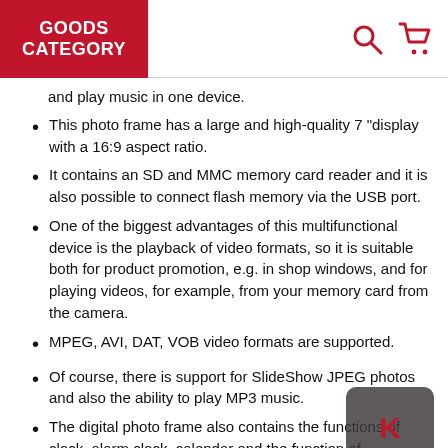GOODS CATEGORY
and play music in one device.
This photo frame has a large and high-quality 7 "display with a 16:9 aspect ratio.
It contains an SD and MMC memory card reader and it is also possible to connect flash memory via the USB port.
One of the biggest advantages of this multifunctional device is the playback of video formats, so it is suitable both for product promotion, e.g. in shop windows, and for playing videos, for example, from your memory card from the camera.
MPEG, AVI, DAT, VOB video formats are supported.
Of course, there is support for SlideShow JPEG photos and also the ability to play MP3 music.
The digital photo frame also contains the functions of clock, alarm clock, calendar and the function of automatic switching on at the selected time.
There is also an AV output for connecting a TV or a